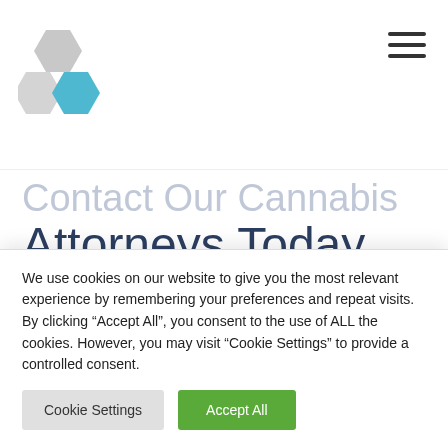[Figure (logo): Kendall PC law firm logo with hexagon shapes in gray and teal, and text 'Kendall' in dark navy bold with 'PC' in teal superscript and TM mark]
Contact Our Cannabis Attorneys Today
If you own a cannabis business or are considering starting a new marijuana company, the cannabis lawyers at Kendall PC can help. Contact us today online
We use cookies on our website to give you the most relevant experience by remembering your preferences and repeat visits. By clicking “Accept All”, you consent to the use of ALL the cookies. However, you may visit "Cookie Settings" to provide a controlled consent.
Cookie Settings | Accept All